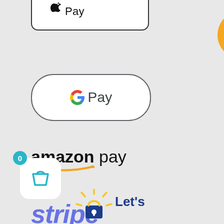[Figure (logo): Apple Pay button - partially cropped at top, white rounded rectangle with Apple Pay text in black]
[Figure (pie-chart): Partial pie/donut chart visible at top right corner, orange and red slices]
[Figure (logo): Google Pay button with rounded rectangle border, Google G logo in multi-color and Pay text]
[Figure (logo): Amazon Pay logo with bold amazon text and orange arrow smile underneath, pay in regular weight]
[Figure (logo): Stripe logo in purple-blue italic bold text]
[Figure (logo): Shopping bag icon in a white rounded square with blue bag, badge showing 0]
[Figure (logo): Let's Encrypt logo partially visible at bottom - sun/lock icon with Let's text and dark blue padlock]